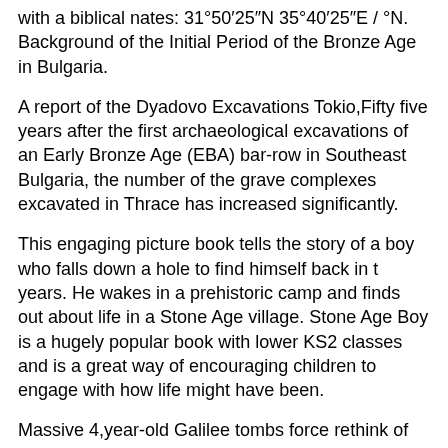with a biblical nates: 31°50′25″N 35°40′25″E / °N. Background of the Initial Period of the Bronze Age in Bulgaria.
A report of the Dyadovo Excavations Tokio,Fifty five years after the first archaeological excavations of an Early Bronze Age (EBA) bar-row in Southeast Bulgaria, the number of the grave complexes excavated in Thrace has increased significantly.
This engaging picture book tells the story of a boy who falls down a hole to find himself back in t years. He wakes in a prehistoric camp and finds out about life in a Stone Age village. Stone Age Boy is a hugely popular book with lower KS2 classes and is a great way of encouraging children to engage with how life might have been.
Massive 4,year-old Galilee tombs force rethink of Bronze dark age In northern Israel, archaeologists excavate largest dolmen in the Levant, with 50. The NOOK Book (eBook) of the Whiskey on the Rocks by Katina French at Barnes & Noble. FREE Shipping on $35 or more.